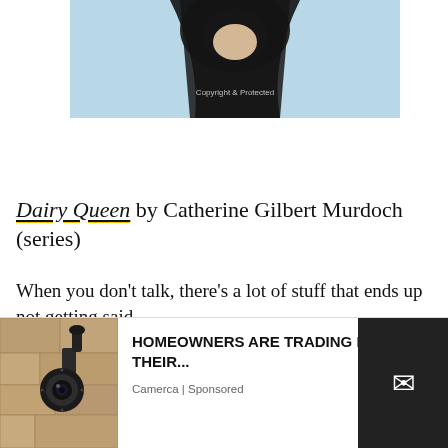[Figure (photo): Partial photo of a person wearing a black hood/veil against a light blue sky background, with a small copyright watermark text visible]
Dairy Queen by Catherine Gilbert Murdoch (series)
When you don't talk, there's a lot of stuff that ends up not getting said.
Stuff like why her best friend, Amber, isn't so friendly anymore. Or why her little brother, Curtis,
[Figure (screenshot): Advertisement overlay showing a smart security camera on a wall with text 'HOMEOWNERS ARE TRADING IN THEIR...' by Camerca (Sponsored), with a close X button and a dark email button on the right]